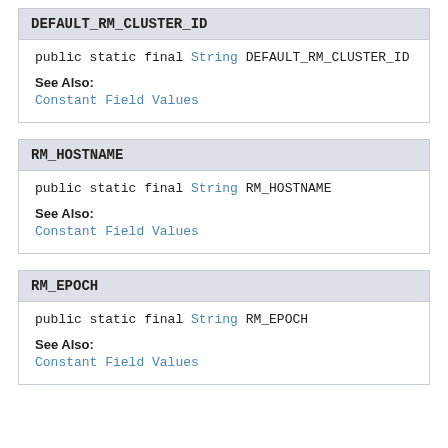DEFAULT_RM_CLUSTER_ID
public static final String DEFAULT_RM_CLUSTER_ID
See Also:
Constant Field Values
RM_HOSTNAME
public static final String RM_HOSTNAME
See Also:
Constant Field Values
RM_EPOCH
public static final String RM_EPOCH
See Also:
Constant Field Values